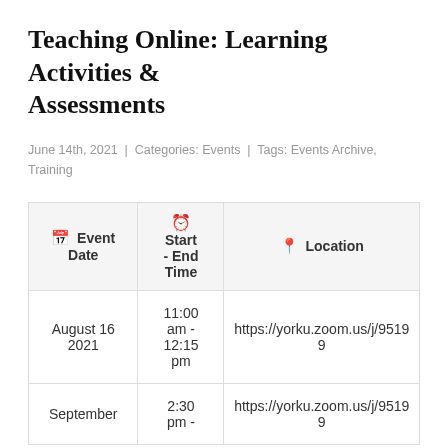Teaching Online: Learning Activities & Assessments
June 14th, 2021 | Categories: Events | Tags: Events Archive, Training
| Event Date | Start - End Time | Location |
| --- | --- | --- |
| August 16 2021 | 11:00 am - 12:15 pm | https://yorku.zoom.us/j/95199 |
| September | 2:30 pm - | https://yorku.zoom.us/j/95199 |